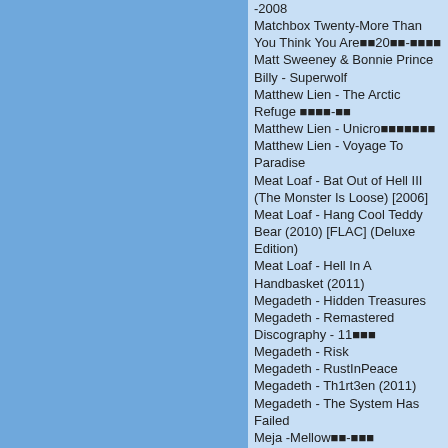-2008
Matchbox Twenty-More Than You Think You Are■20■■-■■■■
Matt Sweeney & Bonnie Prince Billy - Superwolf
Matthew Lien - The Arctic Refuge ■■■■-■■
Matthew Lien - Unicro■■■■■■■
Matthew Lien - Voyage To Paradise
Meat Loaf - Bat Out of Hell III (The Monster Is Loose) [2006]
Meat Loaf - Hang Cool Teddy Bear (2010) [FLAC] (Deluxe Edition)
Meat Loaf - Hell In A Handbasket (2011)
Megadeth - Hidden Treasures
Megadeth - Remastered Discography - 11■■■
Megadeth - Risk
Megadeth - RustInPeace
Megadeth - Th1rt3en (2011)
Megadeth - The System Has Failed
Meja -Mellow■■-■■■
Melanie C- Reason■■■-■■
Melee-Devils and Angels-2007
Men At Work - Brazil
Men At Work - Definitive Collection